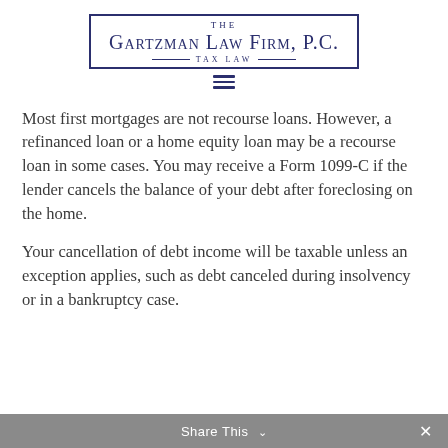[Figure (logo): The Gartzman Law Firm, P.C. Tax Law logo with border and decorative lines]
[Figure (other): Hamburger menu icon (three horizontal lines)]
Most first mortgages are not recourse loans. However, a refinanced loan or a home equity loan may be a recourse loan in some cases. You may receive a Form 1099-C if the lender cancels the balance of your debt after foreclosing on the home.
Your cancellation of debt income will be taxable unless an exception applies, such as debt canceled during insolvency or in a bankruptcy case.
Share This ∨  ×